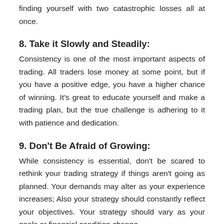finding yourself with two catastrophic losses all at once.
8. Take it Slowly and Steadily:
Consistency is one of the most important aspects of trading. All traders lose money at some point, but if you have a positive edge, you have a higher chance of winning. It's great to educate yourself and make a trading plan, but the true challenge is adhering to it with patience and dedication.
9. Don't Be Afraid of Growing:
While consistency is essential, don't be scared to rethink your trading strategy if things aren't going as planned. Your demands may alter as your experience increases; Also your strategy should constantly reflect your objectives. Your strategy should vary as your goals or financial condition change.